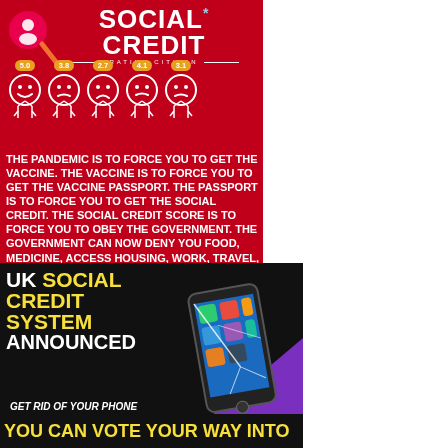[Figure (infographic): Social Credit Rating Citizen infographic on red background with five cartoon faces showing scores 5.0, 3.8, 2.7, 4.1, 3.1, with a magnifying glass overlay and text about pandemic, vaccine, passport, and social credit score]
THE PANDEMIC IS TO FORCE YOU TO GET THE VACCINE. THE VACCINE IS TO FORCE YOU TO GET THE VACCINE PASSPORT. THE PASSPORT IS TO FORCE YOU TO GET THE SOCIAL CREDIT. THE SOCIAL CREDIT SCORE IS TO FORCE YOU TO OBEY THE GOVERNMENT. THE GOVERNMENT CAN NOW DENY YOU FOOD, MEDICINE, ACCESS HOUSING, WORK, TRAVEL, HEALTH CARE...
[Figure (infographic): UK Social Credit System Announced infographic on dark background with cracked smartphone image, purple diagonal element, text GET RID OF YOUR PHONE and YOU CAN VOTE YOUR WAY INTO at the bottom]